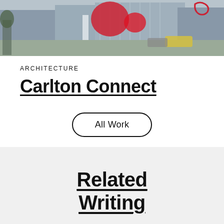[Figure (photo): Street-level exterior photo of Carlton Connect building with red sculptural elements, modern glass facade, and urban streetscape with pedestrians and cars]
ARCHITECTURE
Carlton Connect
All Work
Related Writing